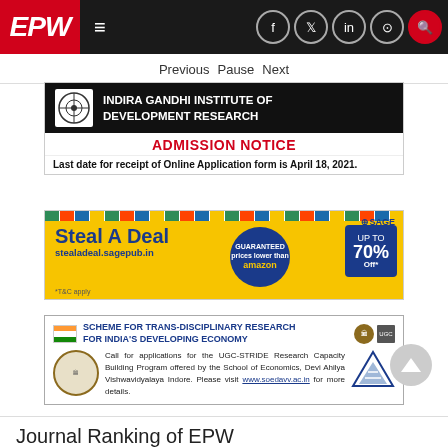EPW | Previous Pause Next
[Figure (illustration): Indira Gandhi Institute of Development Research admission notice banner. Black header with institute name and logo, red ADMISSION NOTICE text, last date for receipt of Online Application form is April 18, 2021.]
[Figure (illustration): SAGE Steal A Deal promotional banner on yellow background with blue circle showing guaranteed prices lower than amazon and up to 70% off. URL: stealadeal.sagepub.in]
[Figure (illustration): UGC-STRIDE Scheme for Trans-Disciplinary Research for India's Developing Economy. Call for applications for the UGC-STRIDE Research Capacity Building Program offered by the School of Economics, Devi Ahilya Vishwavidyalaya Indore. Visit www.soedavv.ac.in for more details.]
Journal Ranking of EPW